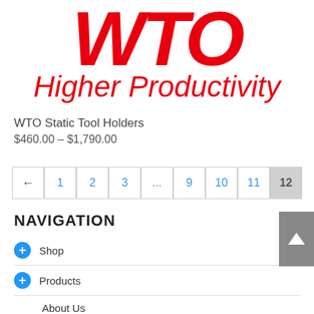[Figure (logo): WTO logo with large red italic bold letters 'WTO' and red cursive text 'Higher Productivity' below]
WTO Static Tool Holders
$460.00 – $1,790.00
[Figure (other): Pagination bar with arrows and page numbers: ← 1 2 3 ... 9 10 11 12 (12 is current/active)]
NAVIGATION
Shop
Products
About Us
Contact Us